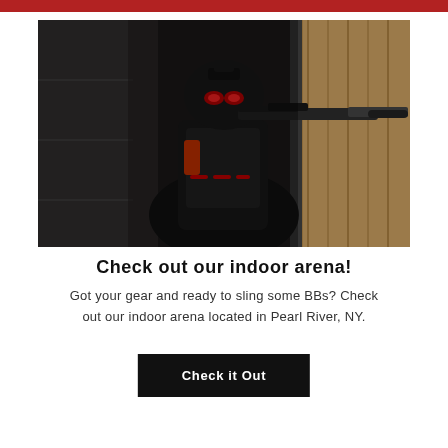[Figure (photo): A person in full black tactical/airsoft gear including helmet with night vision mount and red-lit goggles, aiming a rifle in a narrow indoor corridor with wooden and concrete walls.]
Check out our indoor arena!
Got your gear and ready to sling some BBs? Check out our indoor arena located in Pearl River, NY.
Check it Out